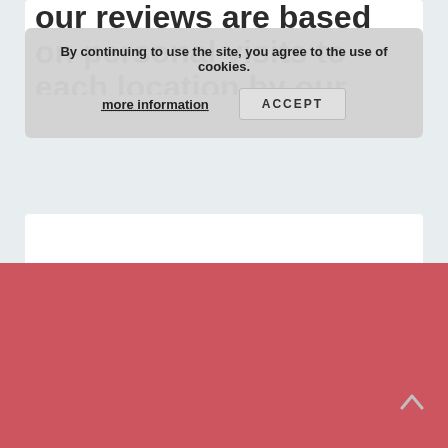our reviews are based on personal visits to each location by our team of journalists
By continuing to use the site, you agree to the use of cookies.
more information
ACCEPT
[Figure (other): Empty white content card 1]
[Figure (other): Empty white content card 2]
[Figure (other): Red footer area with scroll-to-top arrow]